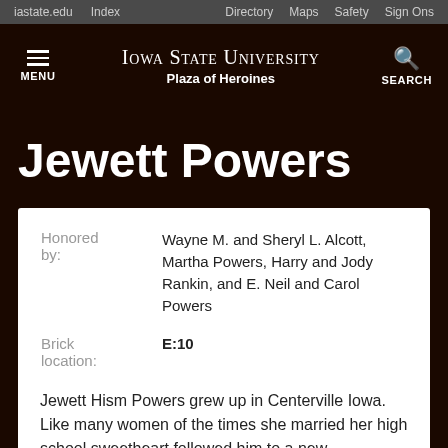iastate.edu   Index   Directory   Maps   Safety   Sign Ons
IOWA STATE UNIVERSITY Plaza of Heroines
Jewett Powers
| Field | Value |
| --- | --- |
| Honored by: | Wayne M. and Sheryl L. Alcott, Martha Powers, Harry and Jody Rankin, and E. Neil and Carol Powers |
| Brick location: | E:10 |
Jewett Hism Powers grew up in Centerville Iowa. Like many women of the times she married her high school sweetheart followed him to a new